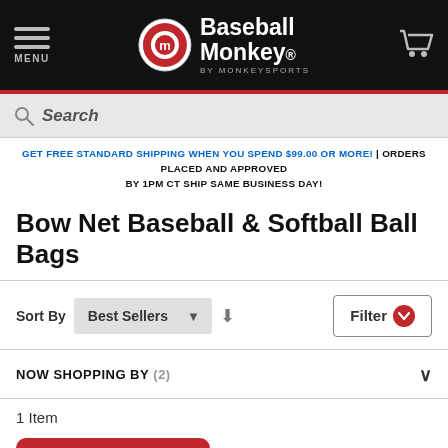MENU | Baseball Monkey BY MONKEYSPORTS
Search
GET FREE STANDARD SHIPPING WHEN YOU SPEND $99.00 OR MORE! | ORDERS PLACED AND APPROVED BY 1PM CT SHIP SAME BUSINESS DAY!
Bow Net Baseball & Softball Ball Bags
Sort By Best Sellers
Filter
NOW SHOPPING BY (2)
1 Item
SIGN UP & SAVE!